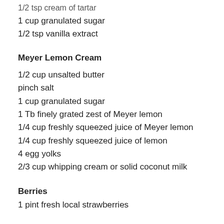1/2 tsp cream of tartar
1 cup granulated sugar
1/2 tsp vanilla extract
Meyer Lemon Cream
1/2 cup unsalted butter
pinch salt
1 cup granulated sugar
1 Tb finely grated zest of Meyer lemon
1/4 cup freshly squeezed juice of Meyer lemon
1/4 cup freshly squeezed juice of lemon
4 egg yolks
2/3 cup whipping cream or solid coconut milk
Berries
1 pint fresh local strawberries
Rhubarb Syrup (optional)
3/4 cup chopped fresh or frozen rhubarb